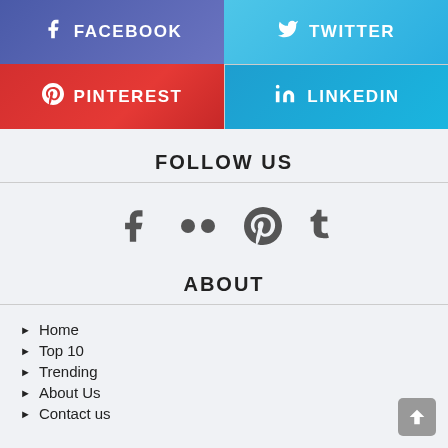[Figure (infographic): Social media share buttons: Facebook (blue-purple), Twitter (light blue), Pinterest (red), LinkedIn (blue)]
FOLLOW US
[Figure (infographic): Social media follow icons: Facebook, Flickr (two dots), Pinterest, Tumblr]
ABOUT
Home
Top 10
Trending
About Us
Contact us